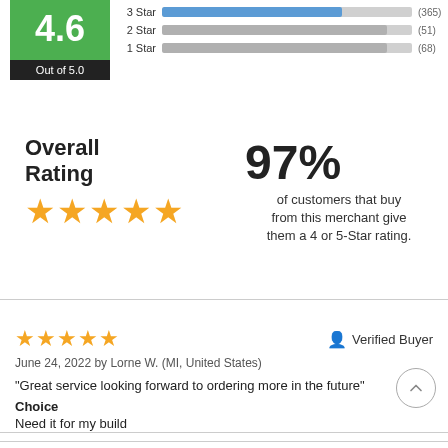[Figure (other): Rating box showing score out of 5.0 with green background and bar chart showing 3 Star (365), 2 Star (51), 1 Star (68) ratings]
Overall Rating
[Figure (other): 5 orange stars representing overall rating]
97% of customers that buy from this merchant give them a 4 or 5-Star rating.
[Figure (other): 5 orange stars for review]
Verified Buyer
June 24, 2022 by Lorne W. (MI, United States)
“Great service looking forward to ordering more in the future”
Choice
Need it for my build